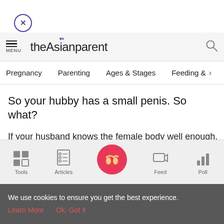[Figure (screenshot): Close button (X in circle) in top left]
theAsianparent — MENU | Search icon
Pregnancy   Parenting   Ages & Stages   Feeding & >
So your hubby has a small penis. So what?
If your husband knows the female body well enough, he'll be skilled enough to make you come with just his hands and
[Figure (screenshot): Bottom navigation bar with Tools, Articles, Home (pink circle with feet), Feed, Poll icons]
We use cookies to ensure you get the best experience.
Learn More   Ok, Got it